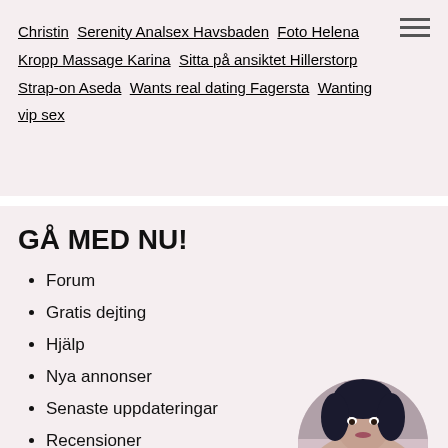Christin  Serenity Analsex Havsbaden  Foto Helena  Kropp Massage Karina  Sitta på ansiktet Hillerstorp  Strap-on Aseda  Wants real dating Fagersta  Wanting vip sex
GÅ MED NU!
Forum
Gratis dejting
Hjälp
Nya annonser
Senaste uppdateringar
Recensioner
Tjänster
[Figure (photo): Circular cropped photo of a dark-haired woman]